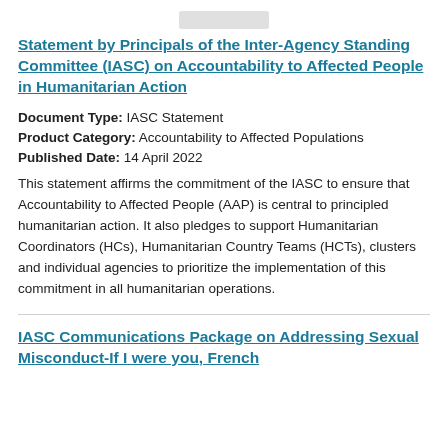[Figure (other): Small placeholder image or logo at top center]
Statement by Principals of the Inter-Agency Standing Committee (IASC) on Accountability to Affected People in Humanitarian Action
Document Type:  IASC Statement
Product Category:  Accountability to Affected Populations
Published Date:  14 April 2022
This statement affirms the commitment of the IASC to ensure that Accountability to Affected People (AAP) is central to principled humanitarian action. It also pledges to support Humanitarian Coordinators (HCs), Humanitarian Country Teams (HCTs), clusters and individual agencies to prioritize the implementation of this commitment in all humanitarian operations.
IASC Communications Package on Addressing Sexual Misconduct-If I were you, French